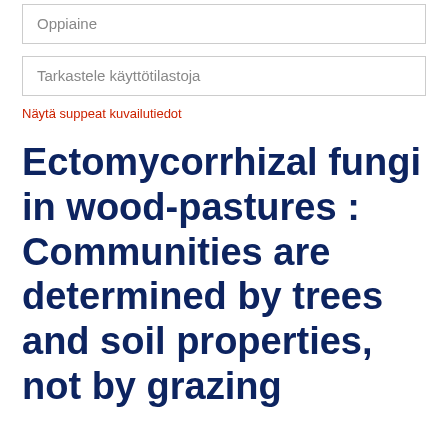Oppiaine
Tarkastele käyttötilastoja
Näytä suppeat kuvailutiedot
Ectomycorrhizal fungi in wood-pastures : Communities are determined by trees and soil properties, not by grazing